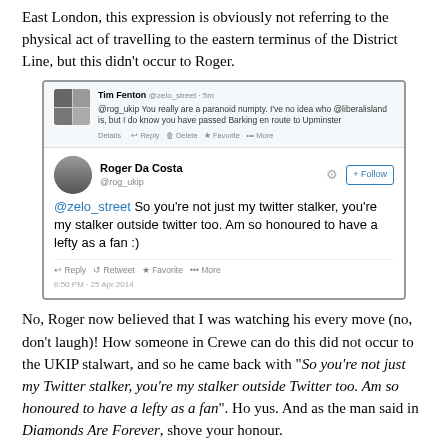East London, this expression is obviously not referring to the physical act of travelling to the eastern terminus of the District Line, but this didn't occur to Roger.
[Figure (screenshot): Screenshot of a Twitter exchange. Top tweet from Tim Fenton (@zelo_street): '@rog_ukip You really are a paranoid numpty. I've no idea who @liberalisland is, but I do know you have passed Barking en route to Upminster'. Bottom tweet from Roger Da Costa (@rog_ukip): '@zelo_street So you're not just my twitter stalker, you're my stalker outside twitter too. Am so honoured to have a lefty as a fan :)' posted 6:50 PM - 25 Apr 2014.]
No, Roger now believed that I was watching his every move (no, don't laugh)! How someone in Crewe can do this did not occur to the UKIP stalwart, and so he came back with “So you’re not just my Twitter stalker, you’re my stalker outside Twitter too. Am so honoured to have a lefty as a fan”. Ho yus. And as the man said in Diamonds Are Forever, shove your honour.
[Figure (screenshot): Partial screenshot of a Twitter post from Tim Fenton (@zelo_street): '@rog_ukip Calling "Stalker" when you get']